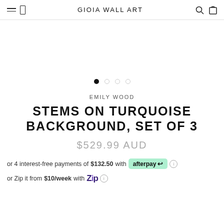GIOIA WALL ART
[Figure (other): Carousel dot navigation: 4 dots, first filled black (active), remaining 3 are light gray outlines]
EMILY WOOD
STEMS ON TURQUOISE BACKGROUND, SET OF 3
$529.99 AUD
or 4 interest-free payments of $132.50 with afterpay ℹ
or Zip it from $10/week with Zip ℹ